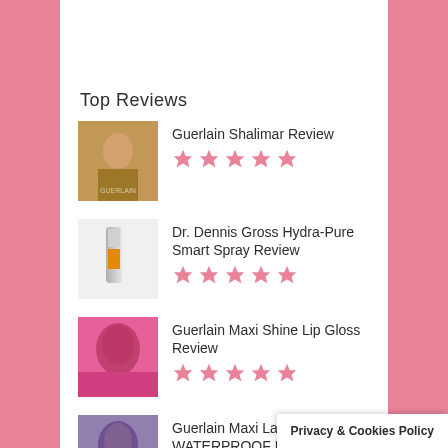Top Reviews
Guerlain Shalimar Review — 5 stars
Dr. Dennis Gross Hydra-Pure Smart Spray Review — 5 stars
Guerlain Maxi Shine Lip Gloss Review — 5 stars
Guerlain Maxi Lash WATERPROOF Mascara Review — 5 stars
CAUDALIE Beauty...
Privacy & Cookies Policy